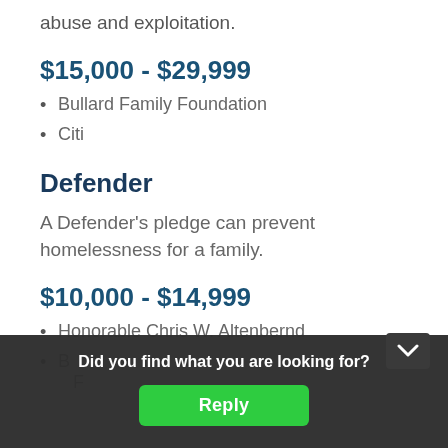abuse and exploitation.
$15,000 - $29,999
Bullard Family Foundation
Citi
Defender
A Defender's pledge can prevent homelessness for a family.
$10,000 - $14,999
Honorable Chris W. Altenbernd
B… F…
[Figure (screenshot): Dark overlay popup with text 'Did you find what you are looking for?' and a green 'Reply' button]